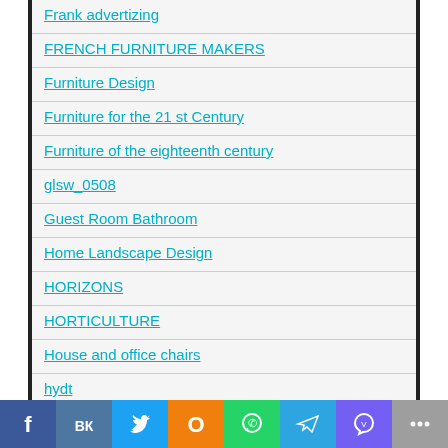Frank advertizing
FRENCH FURNITURE MAKERS
Furniture Design
Furniture for the 21 st Century
Furniture of the eighteenth century
glsw_0508
Guest Room Bathroom
Home Landscape Design
HORIZONS
HORTICULTURE
House and office chairs
hydt
hydt_0813